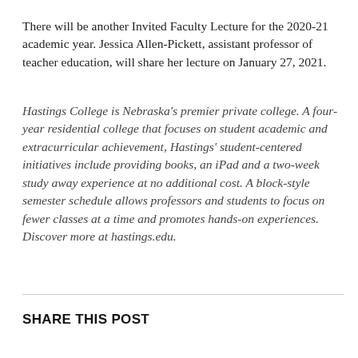There will be another Invited Faculty Lecture for the 2020-21 academic year. Jessica Allen-Pickett, assistant professor of teacher education, will share her lecture on January 27, 2021.
Hastings College is Nebraska's premier private college. A four-year residential college that focuses on student academic and extracurricular achievement, Hastings' student-centered initiatives include providing books, an iPad and a two-week study away experience at no additional cost. A block-style semester schedule allows professors and students to focus on fewer classes at a time and promotes hands-on experiences. Discover more at hastings.edu.
SHARE THIS POST